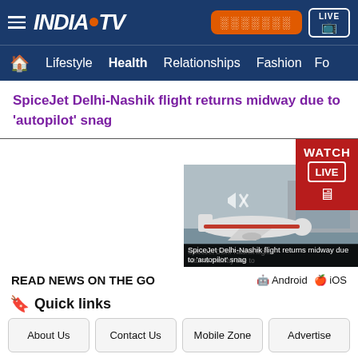INDIA TV — Navigation bar with Lifestyle, Health, Relationships, Fashion
SpiceJet Delhi-Nashik flight returns midway due to 'autopilot' snag
[Figure (screenshot): Watch Live button overlay in red with LIVE text and monitor icon, and video thumbnail showing airplane on tarmac with caption: SpiceJet Delhi-Nashik flight returns midway due to 'autopilot' snag]
READ NEWS ON THE GO   Android   iOS
Quick links
About Us
Contact Us
Mobile Zone
Advertise